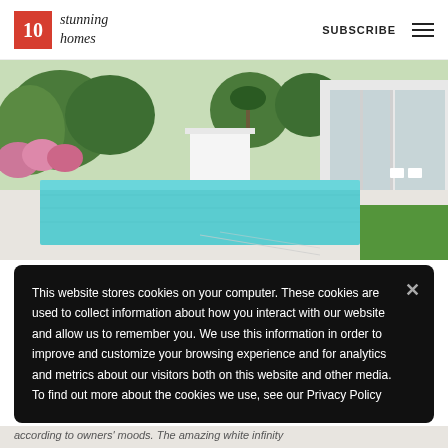10 stunning homes | SUBSCRIBE
[Figure (photo): Aerial/perspective view of a modern luxury home with an infinity pool, lush green lawn, flowering garden, and glass-walled interior visible on right side.]
This website stores cookies on your computer. These cookies are used to collect information about how you interact with our website and allow us to remember you. We use this information in order to improve and customize your browsing experience and for analytics and metrics about our visitors both on this website and other media. To find out more about the cookies we use, see our Privacy Policy
according to owners' moods. The amazing white infinity